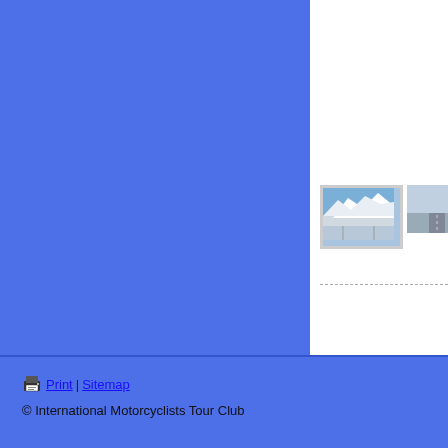[Figure (illustration): Blue background panel on the left side of the page, appearing to be a navigation or header area of a motorcycle tour club website]
[Figure (photo): Small thumbnail photo of a snowy mountain road scene with a grey border/frame]
[Figure (photo): Small thumbnail photo of a highway or road scene]
[Figure (photo): Small thumbnail photo of what appears to be an outdoor terrace or seating area]
Print | Sitemap © International Motorcyclists Tour Club